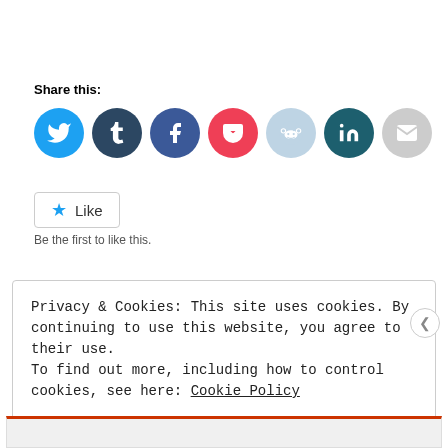Share this:
[Figure (infographic): Row of social media sharing icon buttons: Twitter (blue), Tumblr (dark blue), Facebook (blue), Pocket (red), Reddit (light blue), LinkedIn (dark teal), Email (grey)]
[Figure (infographic): Like button with a star icon and the text 'Like', followed by 'Be the first to like this.' text below]
Privacy & Cookies: This site uses cookies. By continuing to use this website, you agree to their use. To find out more, including how to control cookies, see here: Cookie Policy
CLOSE AND ACCEPT